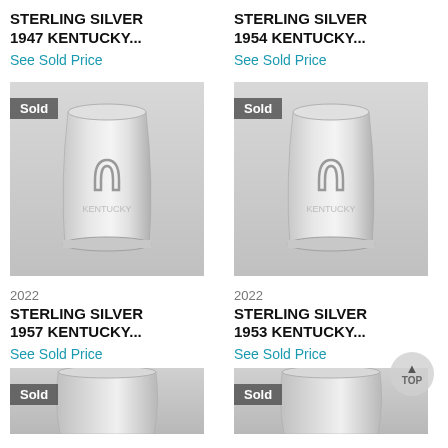STERLING SILVER 1947 KENTUCKY...
See Sold Price
STERLING SILVER 1954 KENTUCKY...
See Sold Price
[Figure (photo): Silver mint julep cup with horseshoe emblem, Sold badge]
[Figure (photo): Silver mint julep cup with horseshoe emblem, Sold badge]
2022
2022
STERLING SILVER 1957 KENTUCKY...
See Sold Price
STERLING SILVER 1953 KENTUCKY...
See Sold Price
[Figure (photo): Partial silver cup, Sold badge, bottom of page]
[Figure (photo): Partial silver cup, Sold badge, bottom of page]